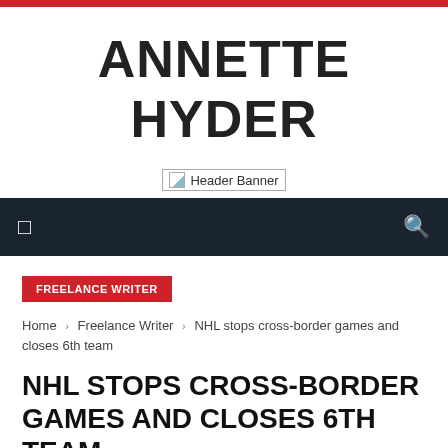ANNETTE HYDER
[Figure (other): Header Banner placeholder image]
Navigation bar with menu icon and search icon
FREELANCE WRITER
Home › Freelance Writer › NHL stops cross-border games and closes 6th team
NHL STOPS CROSS-BORDER GAMES AND CLOSES 6TH TEAM
0 / 0